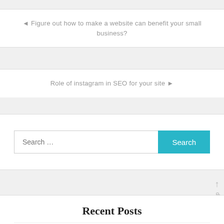◄ Figure out how to make a website can benefit your small business?
Role of instagram in SEO for your site ►
Search …
Recent Posts
Back To Top